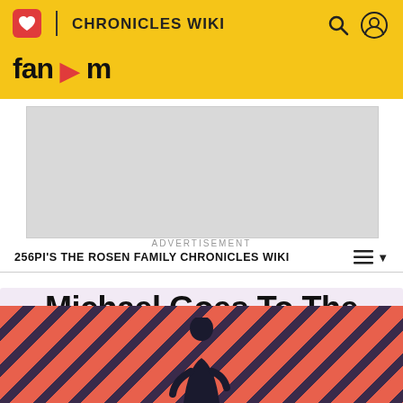CHRONICLES WIKI | Fandom
[Figure (screenshot): Advertisement placeholder box (gray rectangle)]
ADVERTISEMENT
256PI'S THE ROSEN FAMILY CHRONICLES WIKI
Michael Goes To The Fridge
EDIT
[Figure (illustration): Diagonal stripe pattern background in salmon/dark purple with a figure silhouette at bottom center]